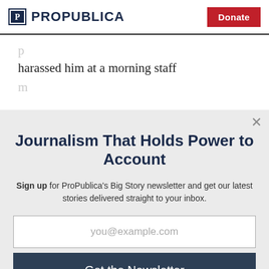ProPublica | Donate
harassed him at a morning staff
Journalism That Holds Power to Account
Sign up for ProPublica's Big Story newsletter and get our latest stories delivered straight to your inbox.
you@example.com
Get the Newsletter
No thanks, I'm all set
This site is protected by reCAPTCHA and the Google Privacy Policy and Terms of Service apply.